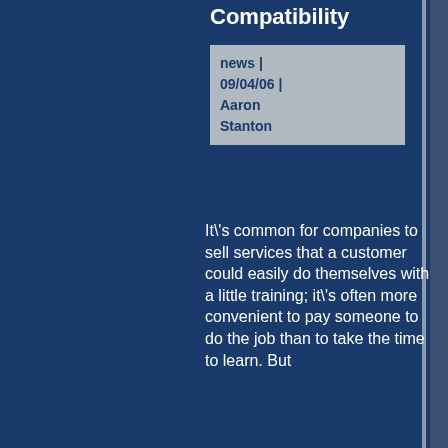Compatibility
news | 09/04/06 | Aaron Stanton
It's common for companies to sell services that a customer could easily do themselves with a little training; it's often more convenient to pay someone to do the job than to take the time to learn. But